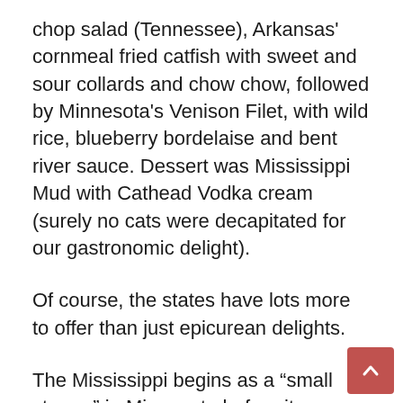chop salad (Tennessee), Arkansas' cornmeal fried catfish with sweet and sour collards and chow chow, followed by Minnesota's Venison Filet, with wild rice, blueberry bordelaise and bent river sauce. Dessert was Mississippi Mud with Cathead Vodka cream (surely no cats were decapitated for our gastronomic delight).
Of course, the states have lots more to offer than just epicurean delights.
The Mississippi begins as a “small stream” in Minnesota before it grows and flows 1,800 miles into the Gulf of Mexico. Along the way there are sights and sounds galore. It meanders through music country – Tennessee, Mississippi and Louisiana. Elvis Presley fans get a double banger – Graceland, his home in Memphis and Tupelo, his birthplace in Mississippi. All